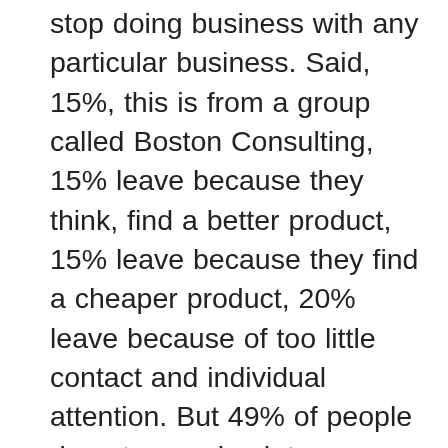stop doing business with any particular business. Said, 15%, this is from a group called Boston Consulting, 15% leave because they think, find a better product, 15% leave because they find a cheaper product, 20% leave because of too little contact and individual attention. But 49% of people do not come back to your business or builders to any business because the attention they got was poor quality. In other words, almost 70% of the reason someone stops doing business with your business has got nothing to do with product or price, but the actual frequency times quality of the relationship that the people have. So, there we go. Where do people learn how to build high quality relationships. And again, you don't learn at kindergarten, you don't learn in primary school, but that's what you and I do. We focus on a structured, systematic, scientific